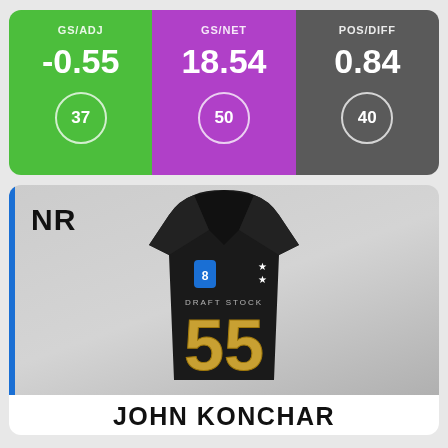[Figure (infographic): Stats panel with three metrics: GS/ADJ -0.55 (rank 37, green background), GS/NET 18.54 (rank 50, purple background), POS/DIFF 0.84 (rank 40, gray background)]
[Figure (infographic): Player card for John Konchar showing a dark basketball jersey with number 55 and 'DRAFT STOCK' text, with NR ranking label and blue accent bar]
JOHN KONCHAR
6' 5" / 23.25 YEARS OLD